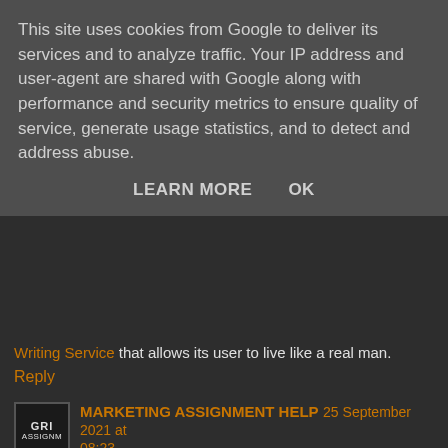This site uses cookies from Google to deliver its services and to analyze traffic. Your IP address and user-agent are shared with Google along with performance and security metrics to ensure quality of service, generate usage statistics, and to detect and address abuse.
LEARN MORE    OK
Writing Service that allows its user to live like a real man.
Reply
MARKETING ASSIGNMENT HELP 25 September 2021 at 08:23
If you are looking to pay someone to do assignment homework, then our experts are always available for your assistance. Our professionals are extremely dedicated to making sure you get the best content within the shortest period of time with extreme precision and accuracy. We also have additional deals and discounts for students to get more reductions on the final cost.